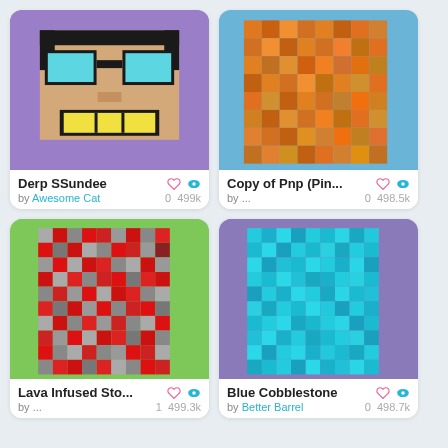[Figure (illustration): Derp SSundee pixel art - a cartoon face with glasses, black hair, yellow mouth on purple background]
Derp SSundee
by Awesome Cat
0   499k
[Figure (illustration): Copy of Pnp (Pin... - orange/brown mosaic pixel texture on blue background]
Copy of Pnp (Pin...
by ...
0   498.5k
[Figure (illustration): Lava Infused Sto... - red and gray pixel mosaic texture on green background]
Lava Infused Sto...
by ...
1   499.3k
[Figure (illustration): Blue Cobblestone - blue mosaic pixel texture on purple background]
Blue Cobblestone
by Better Barrel
0   498.7k